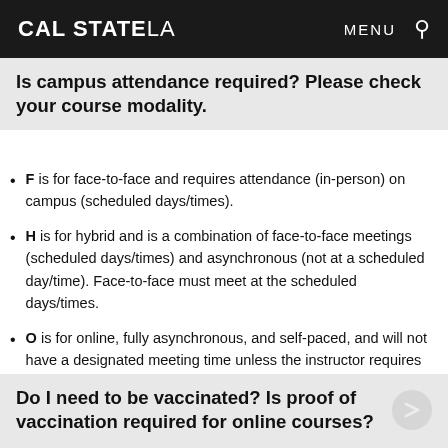CAL STATE LA   MENU
Is campus attendance required? Please check your course modality.
F is for face-to-face and requires attendance (in-person) on campus (scheduled days/times).
H is for hybrid and is a combination of face-to-face meetings (scheduled days/times) and asynchronous (not at a scheduled day/time). Face-to-face must meet at the scheduled days/times.
O is for online, fully asynchronous, and self-paced, and will not have a designated meeting time unless the instructor requires it.
Do I need to be vaccinated? Is proof of vaccination required for online courses?